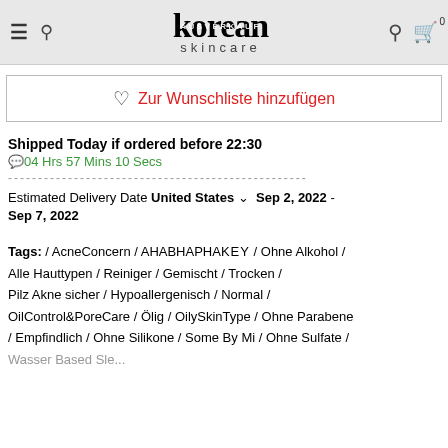korean skincare
♡ Zur Wunschliste hinzufügen
Shipped Today if ordered before 22:30
⏰04 Hrs 57 Mins 10 Secs
-----------------------------------
Estimated Delivery Date United States ∨  Sep 2, 2022 - Sep 7, 2022
Tags: / AcneConcern / AHABHAPHA KEY / Ohne Alkohol / Alle Hauttypen / Reiniger / Gemischt / Trocken / Pilz Akne sicher / Hypoallergenisch / Normal / OilControl&PoreCare / Ölig / OilySkinType / Ohne Parabene / Empfindlich / Ohne Silikone / Some By Mi / Ohne Sulfate / Wasser Based Sle...